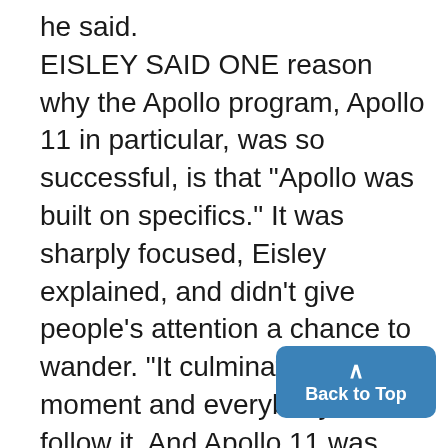he said. EISLEY SAID ONE reason why the Apollo program, Apollo 11 in particular, was so successful, is that "Apollo was built on specifics." It was sharply focused, Eisley explained, and didn't give people's attention a chance to wander. "It culminated at one moment and everybody could follow it. And Apollo 11 was done perfectly." The Engineering College's assistant dean went on to comment on the American public's skepticism to the space program. He said it's as if the